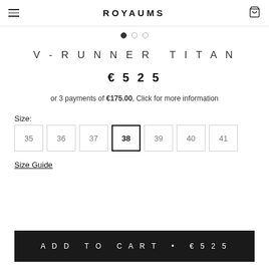ROYAUMS
V-RUNNER TITAN
€525
or 3 payments of €175.00, Click for more information
Size:
35
36
37
38
39
40
41
Size Guide
ADD TO CART • €525